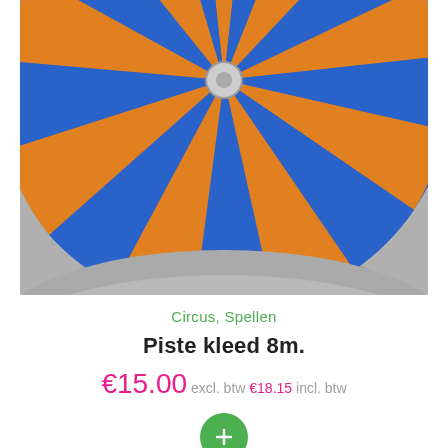[Figure (photo): Aerial view of a large circular circus ring carpet with alternating blue and orange wedge sections radiating from the center, placed on a grey concrete floor.]
Circus, Spellen
Piste kleed 8m.
€15.00 excl. btw €18.15 incl. btw